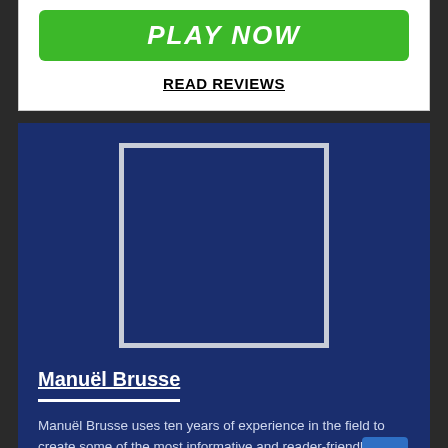PLAY NOW
READ REVIEWS
[Figure (photo): Author photo placeholder — dark blue square with white border on dark blue background]
Manuël Brusse
Manuël Brusse uses ten years of experience in the field to create some of the most informative and reader-friendly pieces on our site. Manuël enjoyed playing brick